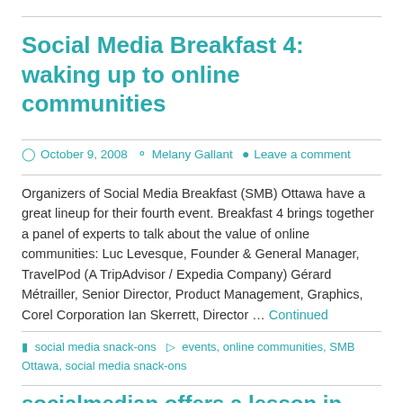Social Media Breakfast 4: waking up to online communities
October 9, 2008  Melany Gallant  Leave a comment
Organizers of Social Media Breakfast (SMB) Ottawa have a great lineup for their fourth event. Breakfast 4 brings together a panel of experts to talk about the value of online communities: Luc Levesque, Founder & General Manager, TravelPod (A TripAdvisor / Expedia Company) Gérard Métrailler, Senior Director, Product Management, Graphics, Corel Corporation Ian Skerrett, Director … Continued
social media snack-ons  events, online communities, SMB Ottawa, social media snack-ons
socialmedian offers a lesson in